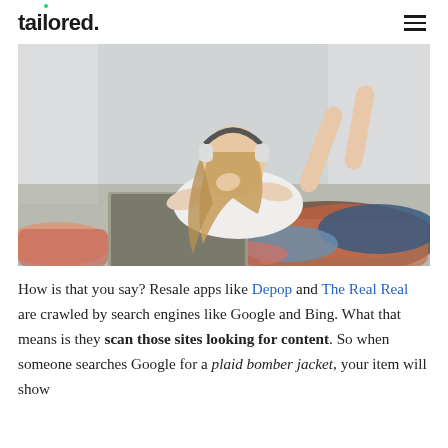tailored.
[Figure (photo): Young woman with headphones lying on a bed with a laptop, surrounded by piles of colorful clothing]
How is that you say? Resale apps like Depop and The Real Real are crawled by search engines like Google and Bing. What that means is they scan those sites looking for content. So when someone searches Google for a plaid bomber jacket, your item will show